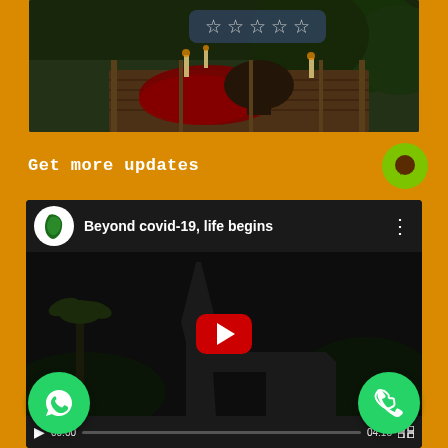[Figure (photo): Aerial view of romantic outdoor dining setup with red rose petals on a deck overlooking greenery, with candles and table setting]
[Figure (other): Star rating widget showing 5 empty stars on a semi-transparent dark blue rounded rectangle overlay]
Get more updates
[Figure (screenshot): YouTube video embed showing channel logo, title 'Beyond covid-19, life begins', YouTube play button, and video controls bar showing 00:00 / 04:18]
[Figure (logo): WhatsApp green circular button with WhatsApp logo]
[Figure (logo): Green circular phone call button]